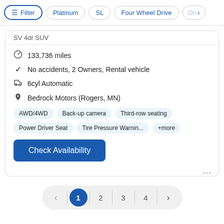Filter | Platinum | SL | Four Wheel Drive | On
SV 4dr SUV
133,736 miles
No accidents, 2 Owners, Rental vehicle
6cyl Automatic
Bedrock Motors (Rogers, MN)
AWD/4WD | Back-up camera | Third-row seating | Power Driver Seat | Tire Pressure Warnin... | +more
Check Availability
... (more options)
< 1 2 3 4 >